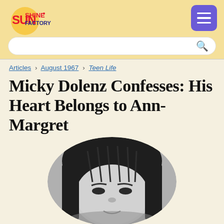Sunshine Factory
Articles > August 1967 > Teen Life
Micky Dolenz Confesses: His Heart Belongs to Ann-Margret
[Figure (photo): Black and white oval portrait photo of Micky Dolenz with bowl-cut hair, looking slightly upward]